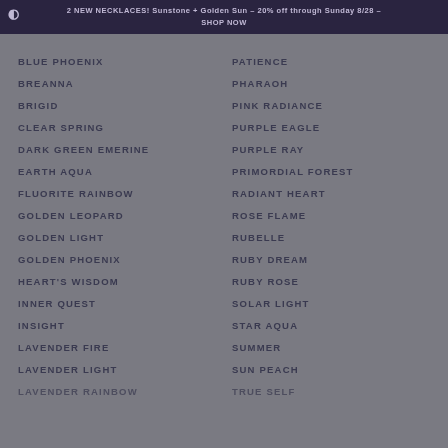2 NEW NECKLACES! Sunstone + Golden Sun – 20% off through Sunday 8/28 – SHOP NOW
BLUE PHOENIX
PATIENCE
BREANNA
PHARAOH
BRIGID
PINK RADIANCE
CLEAR SPRING
PURPLE EAGLE
DARK GREEN EMERINE
PURPLE RAY
EARTH AQUA
PRIMORDIAL FOREST
FLUORITE RAINBOW
RADIANT HEART
GOLDEN LEOPARD
ROSE FLAME
GOLDEN LIGHT
RUBELLE
GOLDEN PHOENIX
RUBY DREAM
HEART'S WISDOM
RUBY ROSE
INNER QUEST
SOLAR LIGHT
INSIGHT
STAR AQUA
LAVENDER FIRE
SUMMER
LAVENDER LIGHT
SUN PEACH
LAVENDER RAINBOW
TRUE SELF